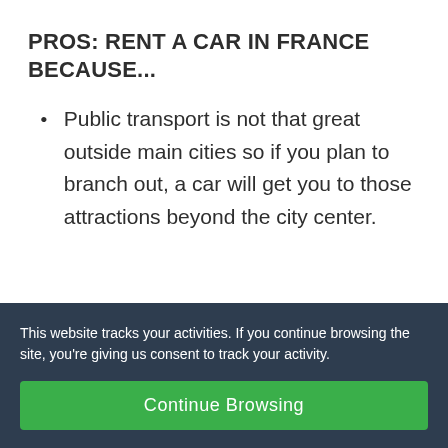PROS: RENT A CAR IN FRANCE BECAUSE...
Public transport is not that great outside main cities so if you plan to branch out, a car will get you to those attractions beyond the city center.
This website tracks your activities. If you continue browsing the site, you’re giving us consent to track your activity.
Continue Browsing